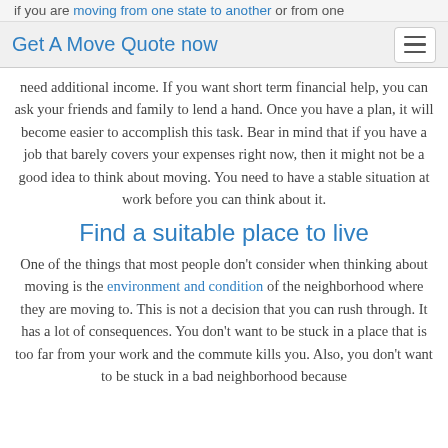if you are moving from one state to another or from one
Get A Move Quote now
need additional income. If you want short term financial help, you can ask your friends and family to lend a hand. Once you have a plan, it will become easier to accomplish this task. Bear in mind that if you have a job that barely covers your expenses right now, then it might not be a good idea to think about moving. You need to have a stable situation at work before you can think about it.
Find a suitable place to live
One of the things that most people don't consider when thinking about moving is the environment and condition of the neighborhood where they are moving to. This is not a decision that you can rush through. It has a lot of consequences. You don't want to be stuck in a place that is too far from your work and the commute kills you. Also, you don't want to be stuck in a bad neighborhood because